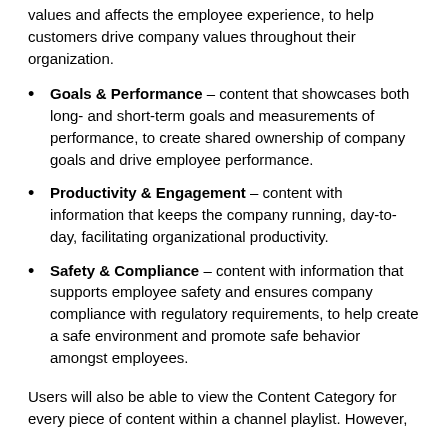values and affects the employee experience, to help customers drive company values throughout their organization.
Goals & Performance – content that showcases both long- and short-term goals and measurements of performance, to create shared ownership of company goals and drive employee performance.
Productivity & Engagement – content with information that keeps the company running, day-to-day, facilitating organizational productivity.
Safety & Compliance – content with information that supports employee safety and ensures company compliance with regulatory requirements, to help create a safe environment and promote safe behavior amongst employees.
Users will also be able to view the Content Category for every piece of content within a channel playlist. However,